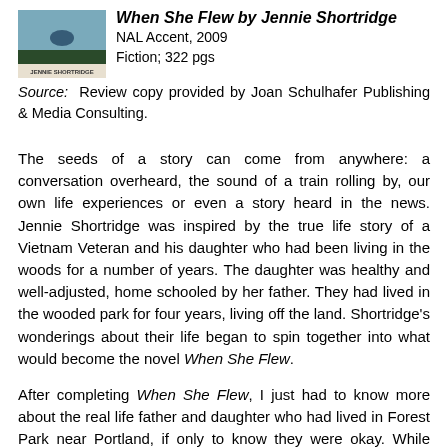[Figure (illustration): Book cover of 'When She Flew' by Jennie Shortridge with author name text]
When She Flew by Jennie Shortridge
NAL Accent, 2009
Fiction; 322 pgs
Source: Review copy provided by Joan Schulhafer Publishing & Media Consulting.
The seeds of a story can come from anywhere: a conversation overheard, the sound of a train rolling by, our own life experiences or even a story heard in the news. Jennie Shortridge was inspired by the true life story of a Vietnam Veteran and his daughter who had been living in the woods for a number of years. The daughter was healthy and well-adjusted, home schooled by her father. They had lived in the wooded park for four years, living off the land. Shortridge's wonderings about their life began to spin together into what would become the novel When She Flew.
After completing When She Flew, I just had to know more about the real life father and daughter who had lived in Forest Park near Portland, if only to know they were okay. While Shortridge's story is very much her own, echoes of